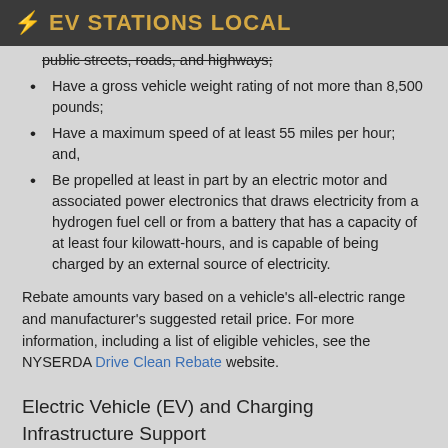⚡ EV STATIONS LOCAL
public streets, roads, and highways;
Have a gross vehicle weight rating of not more than 8,500 pounds;
Have a maximum speed of at least 55 miles per hour; and,
Be propelled at least in part by an electric motor and associated power electronics that draws electricity from a hydrogen fuel cell or from a battery that has a capacity of at least four kilowatt-hours, and is capable of being charged by an external source of electricity.
Rebate amounts vary based on a vehicle's all-electric range and manufacturer's suggested retail price. For more information, including a list of eligible vehicles, see the NYSERDA Drive Clean Rebate website.
Electric Vehicle (EV) and Charging Infrastructure Support
The New York Power Authority (NYPA) EVolve NY program has allocated up to $250 million to support EVs and address charging infrastructure gaps throughout the state. EVolve NY will implement